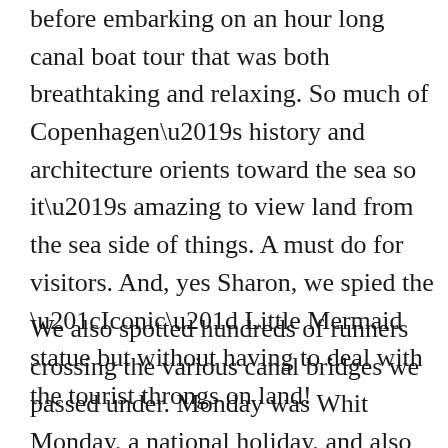before embarking on an hour long canal boat tour that was both breathtaking and relaxing. So much of Copenhagen's history and architecture orients toward the sea so it's amazing to view land from the sea side of things. A must do for visitors. And, yes Sharon, we spied the “Iconic” Little Mermaid statue but without having to deal with the tourist throngs on land!
We also spotted hundreds of runners crossing the various canal bridges we passed under. Monday was Whit Monday, a national holiday, and also the annual Kings Run day and people